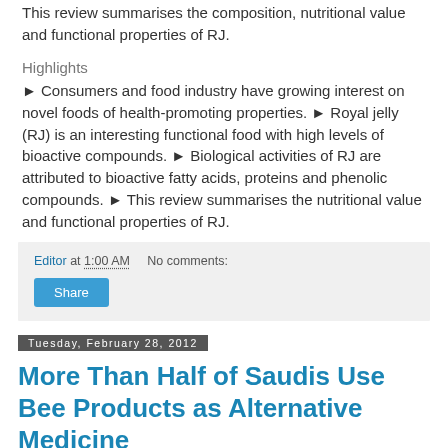This review summarises the composition, nutritional value and functional properties of RJ.
Highlights
► Consumers and food industry have growing interest on novel foods of health-promoting properties. ► Royal jelly (RJ) is an interesting functional food with high levels of bioactive compounds. ► Biological activities of RJ are attributed to bioactive fatty acids, proteins and phenolic compounds. ► This review summarises the nutritional value and functional properties of RJ.
Editor at 1:00 AM    No comments:
Share
Tuesday, February 28, 2012
More Than Half of Saudis Use Bee Products as Alternative Medicine